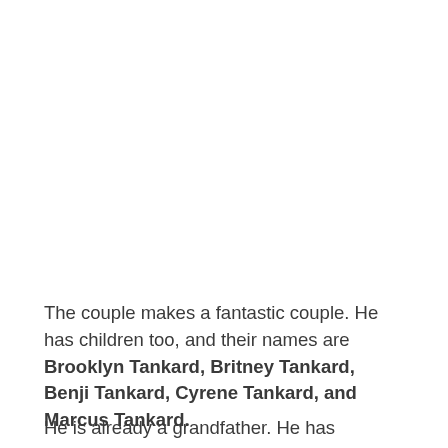The couple makes a fantastic couple. He has children too, and their names are Brooklyn Tankard, Britney Tankard, Benji Tankard, Cyrene Tankard, and Marcus Tankard.
He is already a grandfather. He has uploaded this